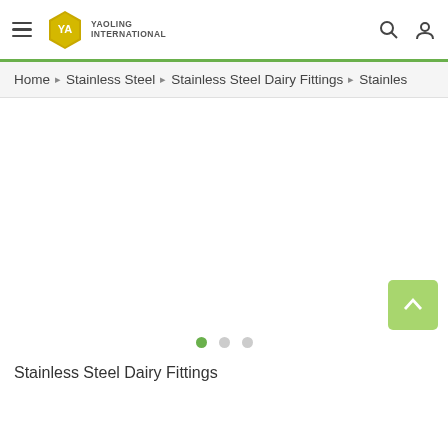Yaoling International - Navigation bar with hamburger menu, logo, search and user icons
Home > Stainless Steel > Stainless Steel Dairy Fittings > Stainles
[Figure (photo): Product image area with carousel (3 slides) - currently showing blank/white first slide]
Stainless Steel Dairy Fittings